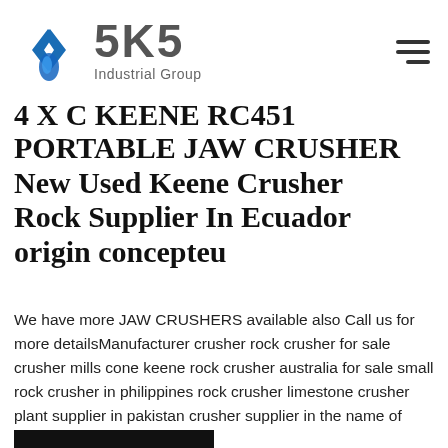[Figure (logo): SKS Industrial Group logo with blue angular diamond/arrow icon on left and grey bold text SKS with Industrial Group subtitle]
4 X C KEENE RC451 PORTABLE JAW CRUSHER New Used Keene Crusher Rock Supplier In Ecuador origin concepteu
We have more JAW CRUSHERS available also Call us for more detailsManufacturer crusher rock crusher for sale crusher mills cone keene rock crusher australia for sale small rock crusher in philippines rock crusher limestone crusher plant supplier in pakistan crusher supplier in the name of bullet